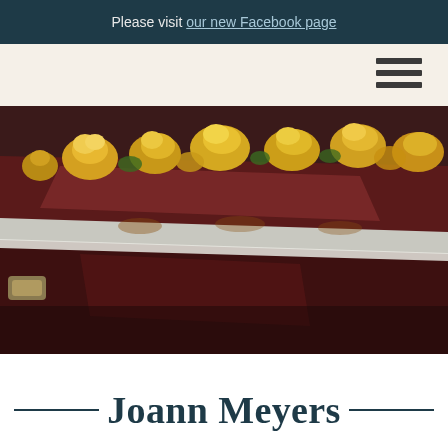Please visit our new Facebook page
[Figure (photo): Close-up photograph of a dark mahogany casket with reflective chrome trim, topped with yellow roses/flowers arranged along the lid edge. A brass handle is visible on the left side.]
Joann Meyers